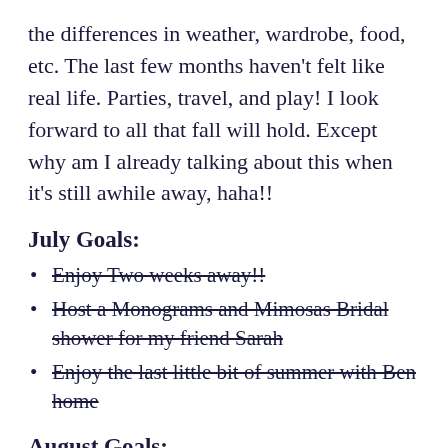the differences in weather, wardrobe, food, etc. The last few months haven't felt like real life. Parties, travel, and play! I look forward to all that fall will hold. Except why am I already talking about this when it's still awhile away, haha!!
July Goals:
Enjoy Two weeks away!!
Host a Monograms and Mimosas Bridal shower for my friend Sarah
Enjoy the last little bit of summer with Ben home
August Goals:
3x a week workouts (I did this last